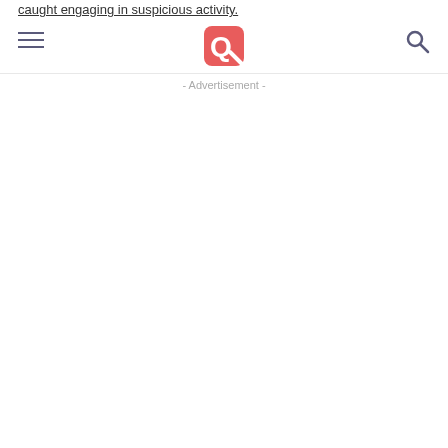caught engaging in suspicious activity.
navigation header with hamburger menu, logo, and search icon
- Advertisement -